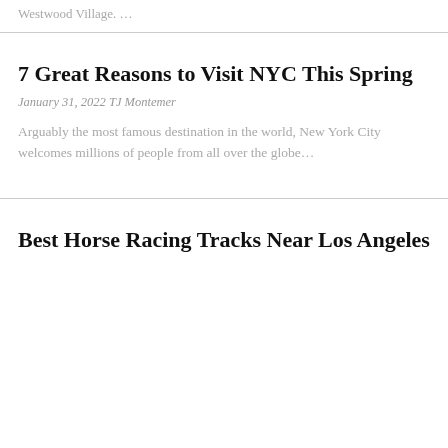Westwood Village.  …
7 Great Reasons to Visit NYC This Spring
January 31, 2022 TJ Montemer
Arguably the most famous destination in the world, New York City welcomes millions of people from all over the globe…
Best Horse Racing Tracks Near Los Angeles